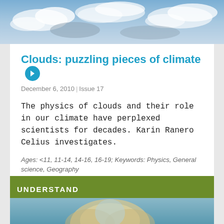[Figure (photo): Sky with clouds background photo at top of page]
Clouds: puzzling pieces of climate
December 6, 2010 | Issue 17
The physics of clouds and their role in our climate have perplexed scientists for decades. Karin Ranero Celius investigates.
Ages: <11, 11-14, 14-16, 16-19; Keywords: Physics, General science, Geography
[Figure (illustration): Flag icons: German, UK, Spanish, French, Romanian flags]
Article PDF
UNDERSTAND
[Figure (photo): Partial photo at bottom — appears to show a person (blonde) looking upward]